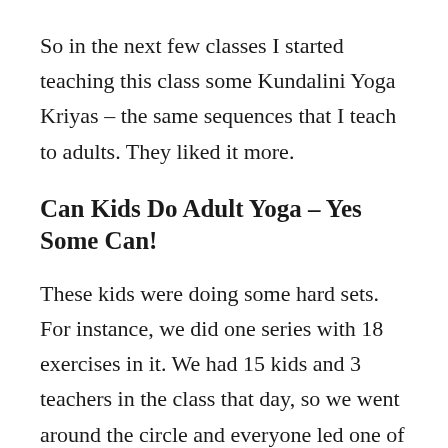So in the next few classes I started teaching this class some Kundalini Yoga Kriyas – the same sequences that I teach to adults. They liked it more.
Can Kids Do Adult Yoga – Yes Some Can!
These kids were doing some hard sets.  For instance, we did one series with 18 exercises in it. We had 15 kids and 3 teachers in the class that day, so we went around the circle and everyone led one of the 18 poses. They were absolutely spent at the end of the 30 minutes and loved it.